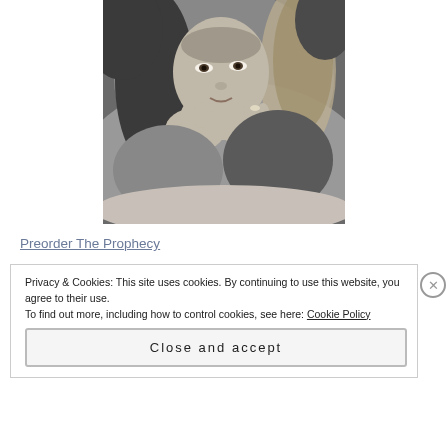[Figure (photo): Black and white portrait photograph of a woman lying on a bed, resting her chin on her hands with rings visible, looking at the camera with a slight smile, long hair falling to the sides.]
Preorder The Prophecy
Privacy & Cookies: This site uses cookies. By continuing to use this website, you agree to their use.
To find out more, including how to control cookies, see here: Cookie Policy
Close and accept